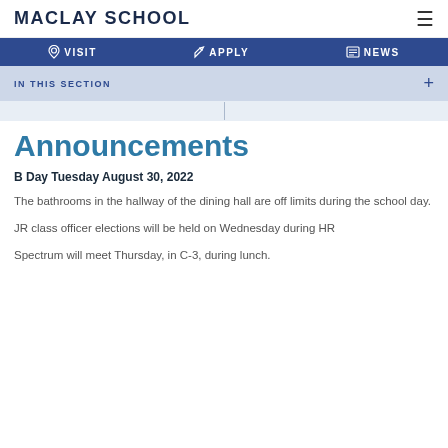MACLAY SCHOOL
VISIT   APPLY   NEWS
IN THIS SECTION
Announcements
B Day Tuesday August 30, 2022
The bathrooms in the hallway of the dining hall are off limits during the school day.
JR class officer elections will be held on Wednesday during HR
Spectrum will meet Thursday, in C-3, during lunch.